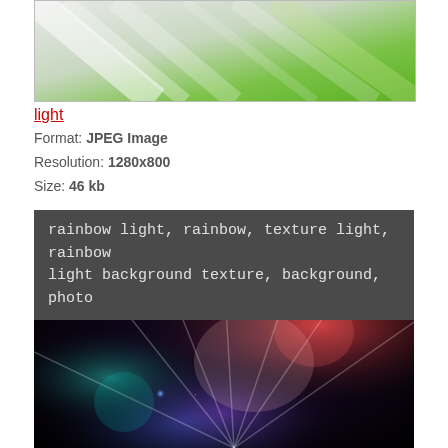[Figure (photo): Abstract green and white diagonal light streaks background image]
light
Format: JPEG Image
Resolution: 1280x800
Size: 46 kb
rainbow light, rainbow, texture light, rainbow light background texture, background, photo
[Figure (photo): Rainbow light background texture with colorful laser lights, lens flares, blue and red glowing lights on dark background]